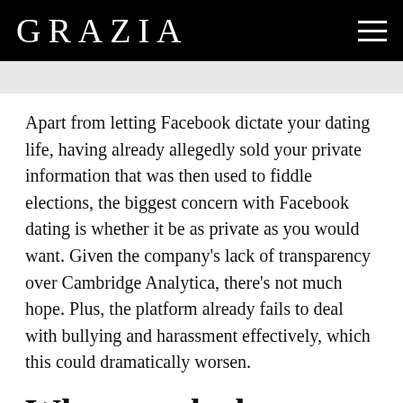GRAZIA
Apart from letting Facebook dictate your dating life, having already allegedly sold your private information that was then used to fiddle elections, the biggest concern with Facebook dating is whether it be as private as you would want. Given the company's lack of transparency over Cambridge Analytica, there's not much hope. Plus, the platform already fails to deal with bullying and harassment effectively, which this could dramatically worsen.
What are the best reasons